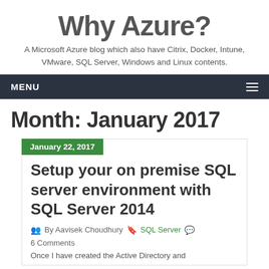Why Azure?
A Microsoft Azure blog which also have Citrix, Docker, Intune, VMware, SQL Server, Windows and Linux contents.
MENU
Month: January 2017
January 22, 2017
Setup your on premise SQL server environment with SQL Server 2014
By Aavisek Choudhury  SQL Server  6 Comments
Once I have created the Active Directory and